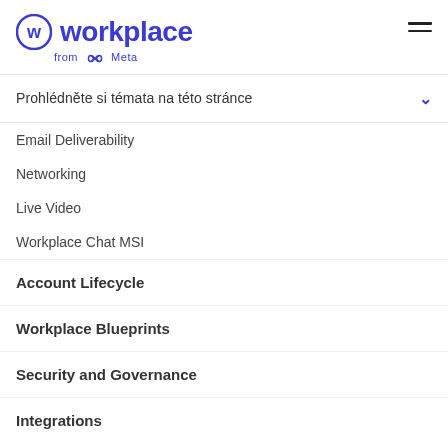Workplace from Meta
Prohlédněte si témata na této stránce
Email Deliverability
Networking
Live Video
Workplace Chat MSI
Account Lifecycle
Workplace Blueprints
Security and Governance
Integrations